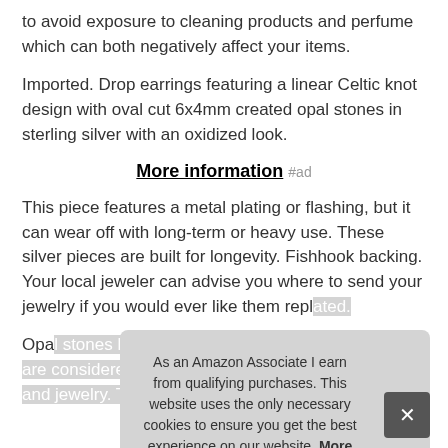to avoid exposure to cleaning products and perfume which can both negatively affect your items.
Imported. Drop earrings featuring a linear Celtic knot design with oval cut 6x4mm created opal stones in sterling silver with an oxidized look.
More information #ad
This piece features a metal plating or flashing, but it can wear off with long-term or heavy use. These silver pieces are built for longevity. Fishhook backing. Your local jeweler can advise you where to send your jewelry if you would ever like them repl
Opa the artw
As an Amazon Associate I earn from qualifying purchases. This website uses the only necessary cookies to ensure you get the best experience on our website. More information